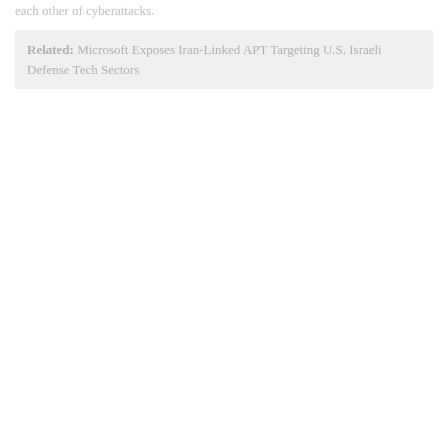each other of cyberattacks.
Related: Microsoft Exposes Iran-Linked APT Targeting U.S. Israeli Defense Tech Sectors